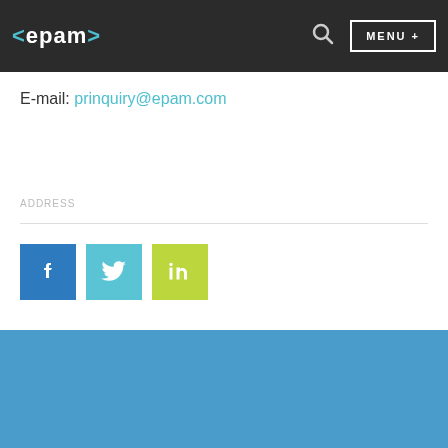<epam> MENU +
E-mail: prinquiry@epam.com
ADDRESS
[Figure (other): Social media icons: Facebook (blue), Twitter (light blue), LinkedIn (yellow-green)]